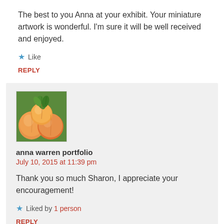The best to you Anna at your exhibit. Your miniature artwork is wonderful. I’m sure it will be well received and enjoyed.
★ Like
REPLY
[Figure (photo): Small square thumbnail image of colorful peaches or fruit with green leaves, serving as a user avatar.]
anna warren portfolio
July 10, 2015 at 11:39 pm
Thank you so much Sharon, I appreciate your encouragement!
★ Liked by 1 person
REPLY